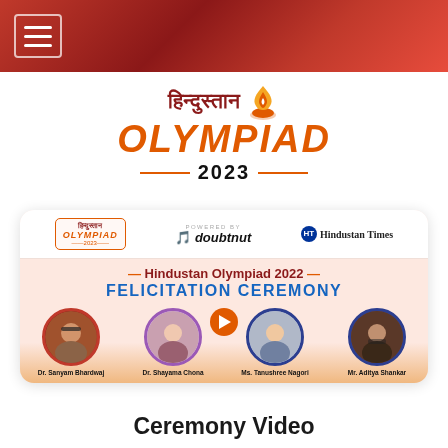Hindustan Olympiad 2023 navigation header
[Figure (logo): Hindustan Olympiad 2023 logo with Hindi text, flame icon, orange OLYMPIAD text, and 2023 year with orange decorative lines]
[Figure (screenshot): Hindustan Olympiad 2022 Felicitation Ceremony video thumbnail showing logos of Hindustan Olympiad, doubtnut, and Hindustan Times at top, ceremony title, play button, and four speakers: Dr. Sanyam Bhardwaj, Dr. Shayama Chona, Ms. Tanushree Nagori, Mr. Aditya Shankar]
Ceremony Video